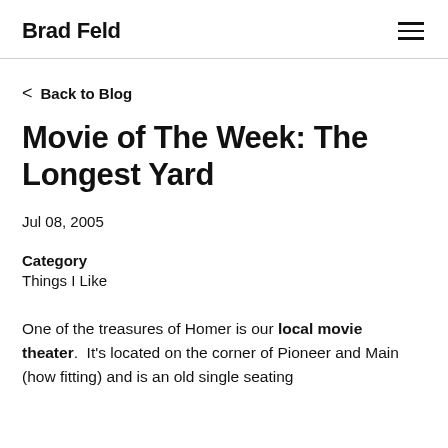Brad Feld
< Back to Blog
Movie of The Week: The Longest Yard
Jul 08, 2005
Category
Things I Like
One of the treasures of Homer is our local movie theater.  It's located on the corner of Pioneer and Main (how fitting) and is an old single seating